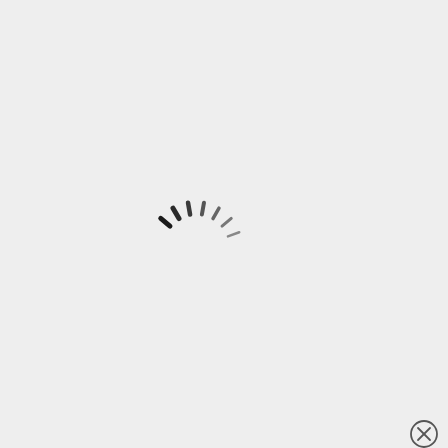[Figure (screenshot): A UI overlay screenshot showing a loading spinner (radiating lines on left side) and a black video player panel on the right with a circular loading indicator in the center. An X close button is in the top-right corner of the black panel. A grey 'CLOSE' button appears below the panel at the bottom right.]